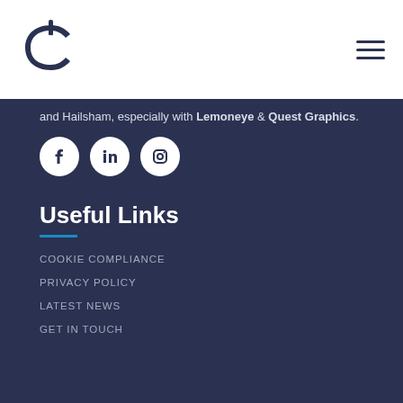[Figure (logo): DC circular logo mark in dark navy blue]
[Figure (other): Hamburger menu icon - three horizontal lines]
and Hailsham, especially with Lemoneye & Quest Graphics.
[Figure (other): Three social media icons: Facebook, LinkedIn, Instagram - white icons on dark circular backgrounds]
Useful Links
COOKIE COMPLIANCE
PRIVACY POLICY
LATEST NEWS
GET IN TOUCH